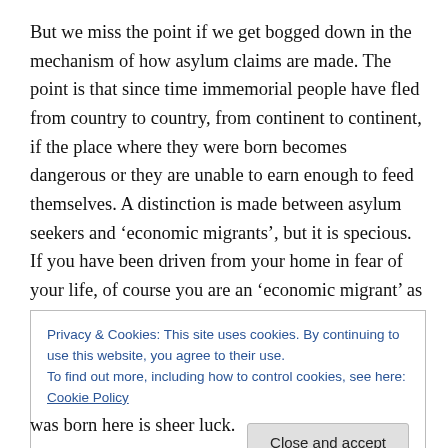But we miss the point if we get bogged down in the mechanism of how asylum claims are made. The point is that since time immemorial people have fled from country to country, from continent to continent, if the place where they were born becomes dangerous or they are unable to earn enough to feed themselves. A distinction is made between asylum seekers and ‘economic migrants’, but it is specious. If you have been driven from your home in fear of your life, of course you are an ‘economic migrant’ as well.
Privacy & Cookies: This site uses cookies. By continuing to use this website, you agree to their use.
To find out more, including how to control cookies, see here: Cookie Policy
was born here is sheer luck.